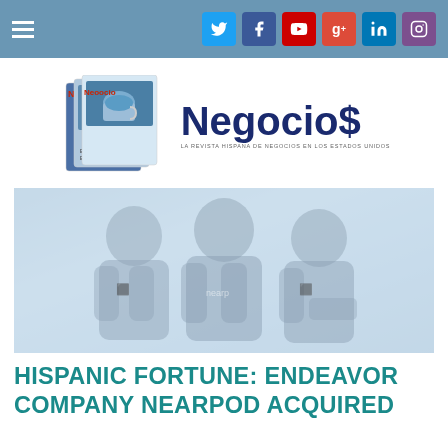Navigation bar with hamburger menu and social media icons (Twitter, Facebook, YouTube, Google+, LinkedIn, Instagram)
[Figure (logo): Negocios magazine logo with stacked magazine covers showing a coffee cup and glasses, beside large bold 'Negocios' text with small tagline subtitle]
[Figure (photo): Faded/washed-out photo of three men standing together wearing dark t-shirts with company logos]
HISPANIC FORTUNE: ENDEAVOR COMPANY NEARPOD ACQUIRED